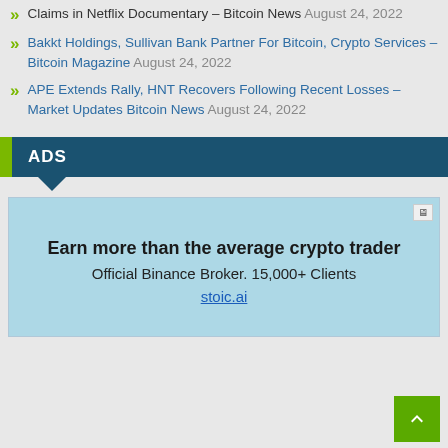Claims in Netflix Documentary – Bitcoin News August 24, 2022
Bakkt Holdings, Sullivan Bank Partner For Bitcoin, Crypto Services – Bitcoin Magazine August 24, 2022
APE Extends Rally, HNT Recovers Following Recent Losses – Market Updates Bitcoin News August 24, 2022
ADS
[Figure (infographic): Advertisement box with light blue background. Contains bold text 'Earn more than the average crypto trader', subtext 'Official Binance Broker. 15,000+ Clients', and link 'stoic.ai'. Has an ad icon in the top right corner.]